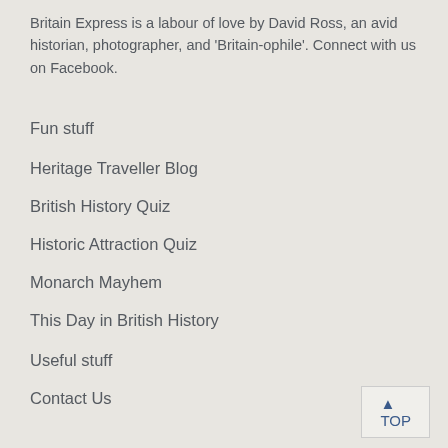Britain Express is a labour of love by David Ross, an avid historian, photographer, and 'Britain-ophile'. Connect with us on Facebook.
Fun stuff
Heritage Traveller Blog
British History Quiz
Historic Attraction Quiz
Monarch Mayhem
This Day in British History
Useful stuff
Contact Us
Privacy
About Britain Express